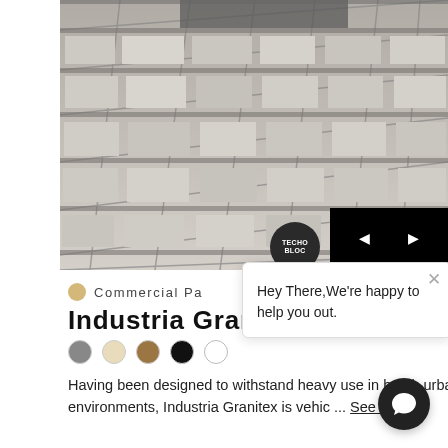[Figure (photo): Overhead/perspective photo of granite paving stones in gray tones, arranged in a rectangular pattern with dark gray grout lines, outdoor commercial setting]
Commercial Pa
Industria Gran
[Figure (other): Five color swatches: gray, cream/beige, brown, black, white]
Having been designed to withstand heavy use in harsh urban environments, Industria Granitex is vehic ... See More
[Figure (other): Chat popup overlay: 'Hey There,We're happy to help you out.']
[Figure (other): Dark circular chat button in bottom right corner]